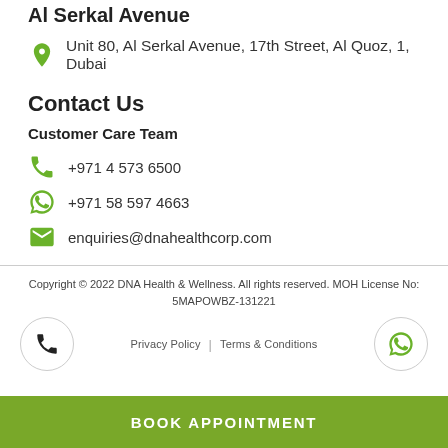Al Serkal Avenue
Unit 80, Al Serkal Avenue, 17th Street, Al Quoz, 1, Dubai
Contact Us
Customer Care Team
+971 4 573 6500
+971 58 597 4663
enquiries@dnahealthcorp.com
Copyright © 2022 DNA Health & Wellness. All rights reserved. MOH License No: 5MAPOWBZ-131221
Privacy Policy | Terms & Conditions
BOOK APPOINTMENT